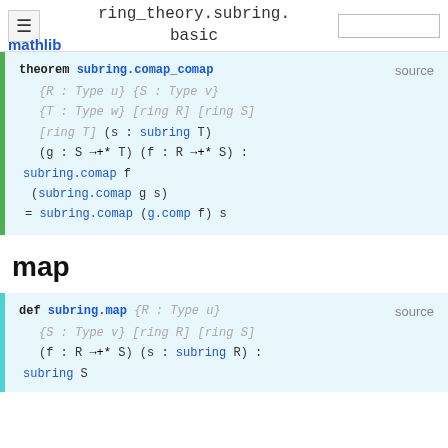ring_theory.subring.basic
theorem subring.comap_comap {R : Type u} {S : Type v} {T : Type w} [ring R] [ring S] [ring T] (s : subring T) (g : S →+* T) (f : R →+* S) : subring.comap f (subring.comap g s) = subring.comap (g.comp f) s
map
def subring.map {R : Type u} {S : Type v} [ring R] [ring S] (f : R →+* S) (s : subring R) : subring S